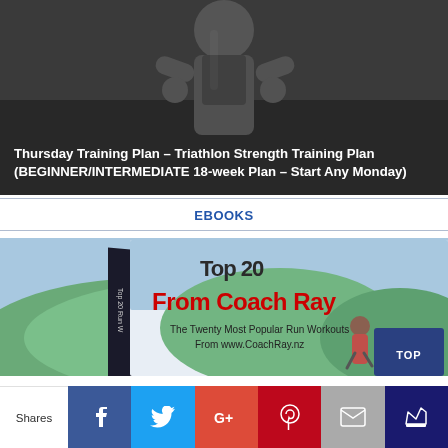[Figure (photo): Dark background hero image showing a fitness/athlete figure from the torso up, with white bold text overlay reading the training plan title]
Thursday Training Plan – Triathlon Strength Training Plan (BEGINNER/INTERMEDIATE 18-week Plan – Start Any Monday)
EBOOKS
[Figure (photo): Book cover image showing 'Top 20 Run Workouts From Coach Ray – The Twenty Most Popular Run Workouts From www.CoachRay.nz' with a female runner on a green outdoor background]
Shares